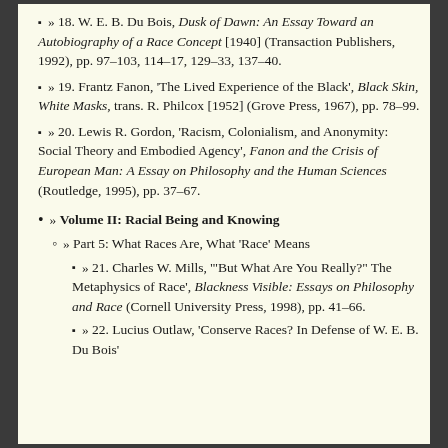» 18. W. E. B. Du Bois, Dusk of Dawn: An Essay Toward an Autobiography of a Race Concept [1940] (Transaction Publishers, 1992), pp. 97–103, 114–17, 129–33, 137–40.
» 19. Frantz Fanon, 'The Lived Experience of the Black', Black Skin, White Masks, trans. R. Philcox [1952] (Grove Press, 1967), pp. 78–99.
» 20. Lewis R. Gordon, 'Racism, Colonialism, and Anonymity: Social Theory and Embodied Agency', Fanon and the Crisis of European Man: A Essay on Philosophy and the Human Sciences (Routledge, 1995), pp. 37–67.
» Volume II: Racial Being and Knowing
» Part 5: What Races Are, What 'Race' Means
» 21. Charles W. Mills, '"But What Are You Really?" The Metaphysics of Race', Blackness Visible: Essays on Philosophy and Race (Cornell University Press, 1998), pp. 41–66.
» 22. Lucius Outlaw, 'Conserve Races? In Defense of W. E. B. Du Bois'